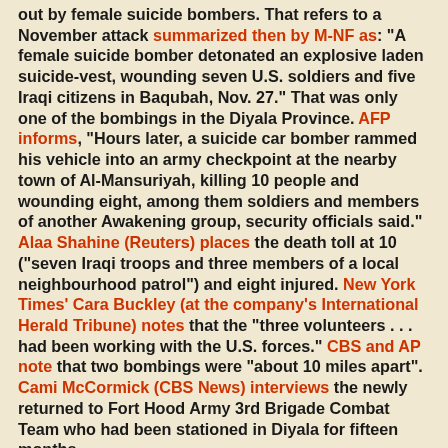out by female suicide bombers. That refers to a November attack summarized then by M-NF as: "A female suicide bomber detonated an explosive laden suicide-vest, wounding seven U.S. soldiers and five Iraqi citizens in Baqubah, Nov. 27." That was only one of the bombings in the Diyala Province. AFP informs, "Hours later, a suicide car bomber rammed his vehicle into an army checkpoint at the nearby town of Al-Mansuriyah, killing 10 people and wounding eight, among them soldiers and members of another Awakening group, security officials said." Alaa Shahine (Reuters) places the death toll at 10 ("seven Iraqi troops and three members of a local neighbourhood patrol") and eight injured. New York Times' Cara Buckley (at the company's International Herald Tribune) notes that the "three volunteers . . . had been working with the U.S. forces." CBS and AP note that two bombings were "about 10 miles apart". Cami McCormick (CBS News) interviews the newly returned to Fort Hood Army 3rd Brigade Combat Team who had been stationed in Diyala for fifteen months.